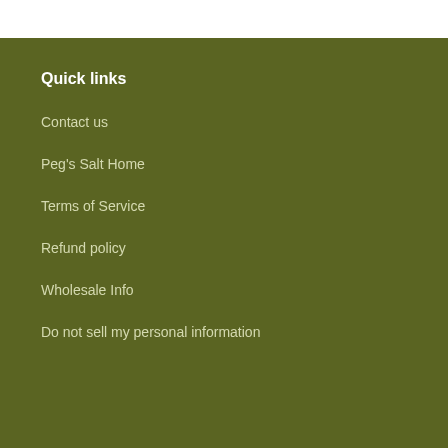Quick links
Contact us
Peg's Salt Home
Terms of Service
Refund policy
Wholesale Info
Do not sell my personal information